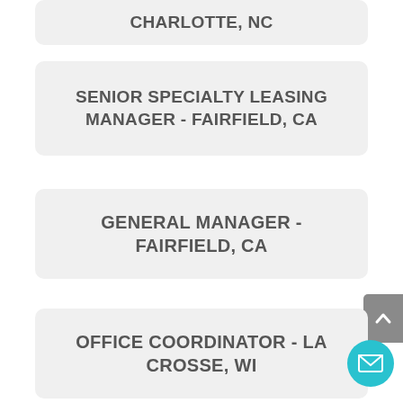CHARLOTTE, NC
SENIOR SPECIALTY LEASING MANAGER - FAIRFIELD, CA
GENERAL MANAGER - FAIRFIELD, CA
OFFICE COORDINATOR - LA CROSSE, WI
GENERAL MANAGER - CENTERVILLE, GA